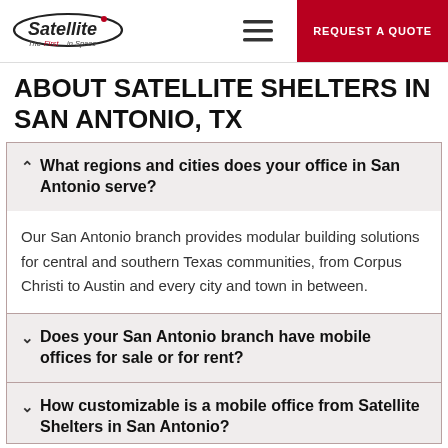Satellite The First in Space | REQUEST A QUOTE
ABOUT SATELLITE SHELTERS IN SAN ANTONIO, TX
What regions and cities does your office in San Antonio serve?
Our San Antonio branch provides modular building solutions for central and southern Texas communities, from Corpus Christi to Austin and every city and town in between.
Does your San Antonio branch have mobile offices for sale or for rent?
How customizable is a mobile office from Satellite Shelters in San Antonio?